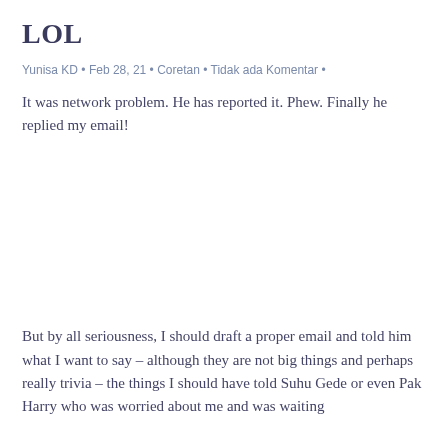LOL
Yunisa KD • Feb 28, 21 • Coretan • Tidak ada Komentar •
It was network problem. He has reported it. Phew. Finally he replied my email!
But by all seriousness, I should draft a proper email and told him what I want to say – although they are not big things and perhaps really trivia – the things I should have told Suhu Gede or even Pak Harry who was worried about me and was waiting